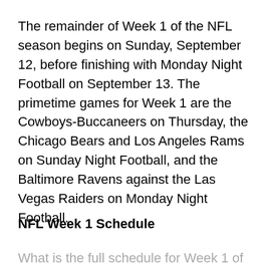The remainder of Week 1 of the NFL season begins on Sunday, September 12, before finishing with Monday Night Football on September 13. The primetime games for Week 1 are the Cowboys-Buccaneers on Thursday, the Chicago Bears and Los Angeles Rams on Sunday Night Football, and the Baltimore Ravens against the Las Vegas Raiders on Monday Night Football.
NFL Week 1 Schedule
What is the full schedule for Week 1 of the